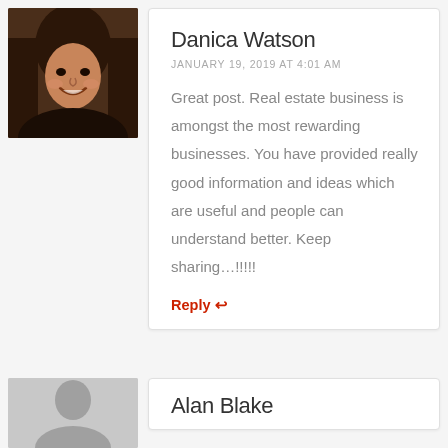[Figure (photo): Profile photo of Danica Watson — woman with long dark hair, smiling]
Danica Watson
JANUARY 19, 2019 AT 4:01 AM
Great post. Real estate business is amongst the most rewarding businesses. You have provided really good information and ideas which are useful and people can understand better. Keep sharing…!!!!!
Reply ↩
[Figure (photo): Generic grey silhouette avatar placeholder]
Alan Blake